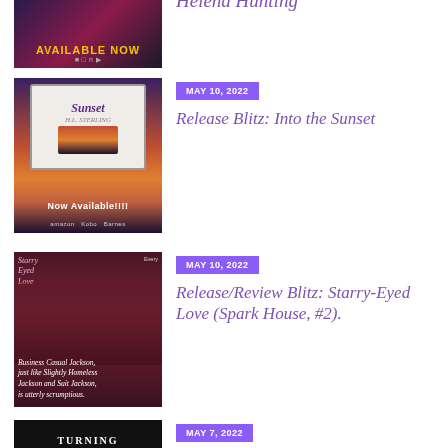[Figure (photo): Book cover promotional image with 'AVAILABLE NOW' text on dark background]
Helena Hunting
[Figure (photo): Book cover for 'Into the Sunset' showing couple and sunset over water with tablet display, 'Now Available!!!!' text]
MAY 10, 2022
Release Blitz: Into the Sunset
[Figure (photo): Book cover for 'Starry-Eyed Love (Spark House #2)' with male figure in business attire and quote text]
MAY 10, 2022
Release/Review Blitz: Starry-Eyed Love (Spark House, #2).
[Figure (photo): Book cover for 'Turning Tables' on dark background]
MAY 7, 2022
Release Blitz: Turning